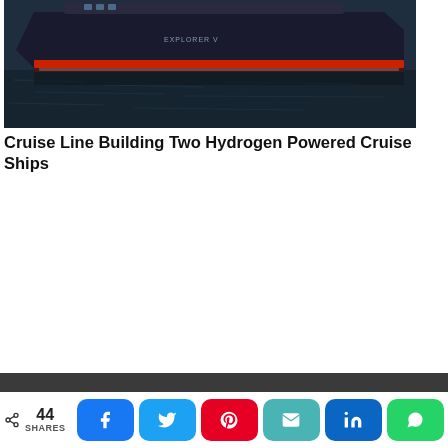[Figure (photo): Aerial or waterline view of a large dark-hulled cruise ship named Explorer V with red trim, floating on calm dark water.]
Cruise Line Building Two Hydrogen Powered Cruise Ships
[Figure (other): Advertisement / empty white space area]
44 SHARES
[Figure (infographic): Social share buttons: Facebook, Twitter, Pinterest, Email, LinkedIn, WhatsApp]